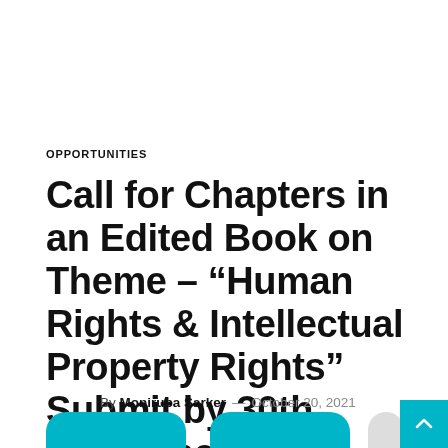OPPORTUNITIES
Call for Chapters in an Edited Book on Theme – “Human Rights & Intellectual Property Rights” Submit by 30th November 2021.
By Monirupa Sarker — October 20, 2021